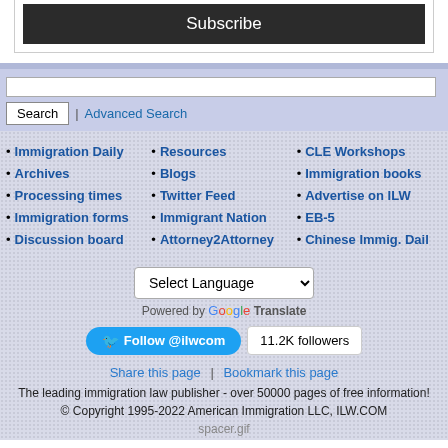Subscribe
Search | Advanced Search
• Immigration Daily
• Archives
• Processing times
• Immigration forms
• Discussion board
• Resources
• Blogs
• Twitter Feed
• Immigrant Nation
• Attorney2Attorney
• CLE Workshops
• Immigration books
• Advertise on ILW
• EB-5
• Chinese Immig. Dail
Select Language
Powered by Google Translate
Follow @ilwcom  11.2K followers
Share this page  |  Bookmark this page
The leading immigration law publisher - over 50000 pages of free information! © Copyright 1995-2022 American Immigration LLC, ILW.COM